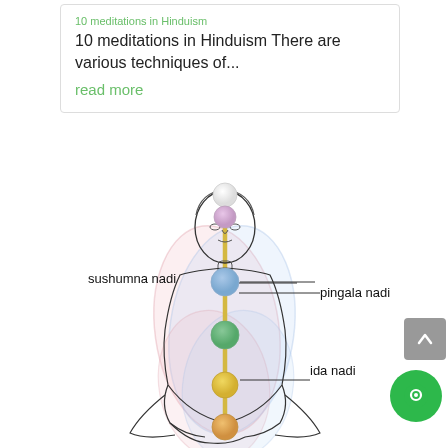10 meditations in Hinduism
10 meditations in Hinduism There are various techniques of...
read more
[Figure (illustration): Diagram of a meditating figure in lotus position showing chakra energy spheres along the spine and labeled nadis: sushumna nadi (center), pingala nadi (right), ida nadi (right lower). The chakras are represented as colored spheres: white (crown), lavender/pink (third eye), blue (throat/heart), green (heart/solar), yellow (sacral), and orange/gold (root). Intertwining oval loops in pink and blue represent the pingala and ida nadis crossing the central sushumna channel.]